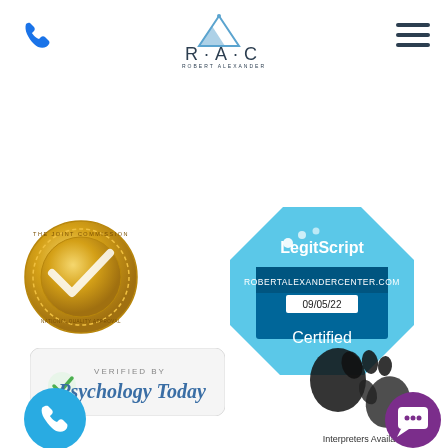[Figure (logo): Phone icon (blue) top left]
[Figure (logo): RAC Robert Alexander Center for Recovery logo, center top, with mountain graphic]
[Figure (logo): Hamburger menu icon (3 dark horizontal lines) top right]
[Figure (logo): The Joint Commission gold medal seal - National Quality Approval]
[Figure (logo): LegitScript certified badge, blue octagon shape, ROBERTALEXANDERCENTER.COM, 09/05/22, Certified]
[Figure (logo): Psychology Today Verified By badge with green checkmark]
[Figure (illustration): Sign language hands illustration in black, with text Interpreters Available]
[Figure (logo): Blue circular phone button bottom left]
[Figure (logo): Purple circular chat button bottom right]